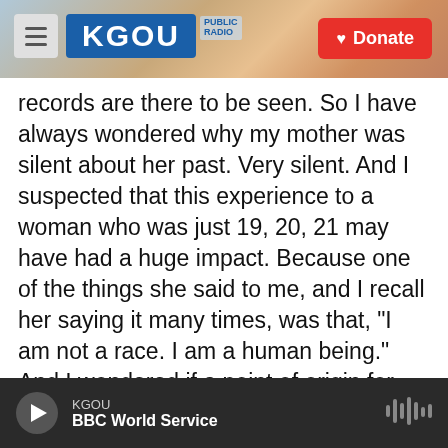[Figure (screenshot): KGOU public radio website header with hamburger menu, KGOU logo in blue, city skyline background, and red Donate button]
records are there to be seen. So I have always wondered why my mother was silent about her past. Very silent. And I suspected that this experience to a woman who was just 19, 20, 21 may have had a huge impact. Because one of the things she said to me, and I recall her saying it many times, was that, "I am not a race. I am a human being." And I wondered if a point of origin for that could have occurred at Fort Huachuca, and she also served at one of the prisoner of war camps in Arizona during the end of the war at Florence. I wondered if a filament to that web of origins could have begun there. And so I wanted to
KGOU
BBC World Service